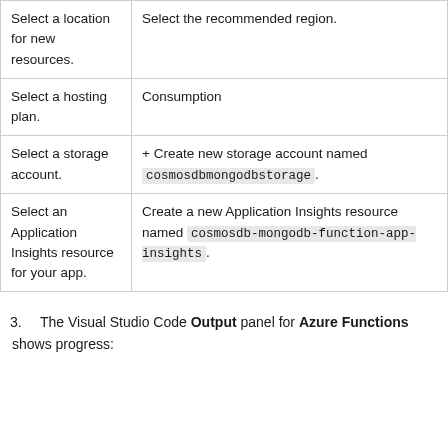| Field | Value |
| --- | --- |
| Select a location for new resources. | Select the recommended region. |
| Select a hosting plan. | Consumption |
| Select a storage account. | + Create new storage account named cosmosdbmongodbstorage. |
| Select an Application Insights resource for your app. | Create a new Application Insights resource named cosmosdb-mongodb-function-app-insights. |
3. The Visual Studio Code Output panel for Azure Functions shows progress: